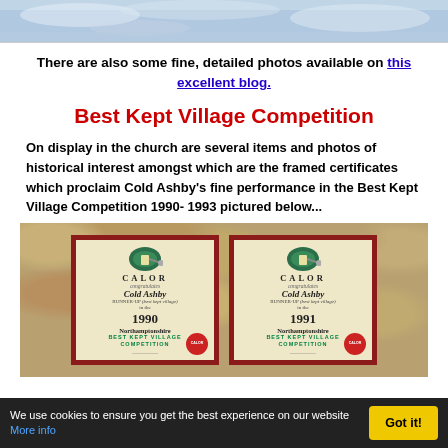[Figure (photo): Top portion of a snowy landscape photo, cropped at top of page]
There are also some fine, detailed photos available on this excellent blog.
Best Kept Village Competition
On display in the church are several items and photos of historical interest amongst which are the framed certificates which proclaim Cold Ashby's fine performance in the Best Kept Village Competition 1990- 1993 pictured below...
[Figure (photo): Two framed Calor Best Kept Village Competition certificates for Cold Ashby, mounted on a stone wall. Left certificate: 1990 Runner-Up, Northamptonshire Best Kept Village Competition. Right certificate: 1991 Runner-Up, Northamptonshire Best Kept Village Competition.]
We use cookies to ensure you get the best experience on our website More info